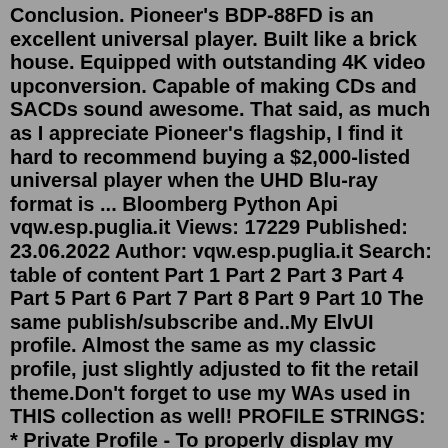Conclusion. Pioneer's BDP-88FD is an excellent universal player. Built like a brick house. Equipped with outstanding 4K video upconversion. Capable of making CDs and SACDs sound awesome. That said, as much as I appreciate Pioneer's flagship, I find it hard to recommend buying a $2,000-listed universal player when the UHD Blu-ray format is ... Bloomberg Python Api vqw.esp.puglia.it Views: 17229 Published: 23.06.2022 Author: vqw.esp.puglia.it Search: table of content Part 1 Part 2 Part 3 Part 4 Part 5 Part 6 Part 7 Part 8 Part 9 Part 10 The same publish/subscribe and..My ElvUI profile. Almost the same as my classic profile, just slightly adjusted to fit the retail theme.Don't forget to use my WAs used in THIS collection as well! PROFILE STRINGS: * Private Profile - To properly display my tags from the TinkerToolbox plugin, you will NEED to import this string as well, it holds all that. * NamePlate Style Filters REQUIRED ADDONS: * DSM - Used to display the ...1 Introduction to the Bloomberg API 12Open the file on Bloomberg Terminal Go to sheet 2.